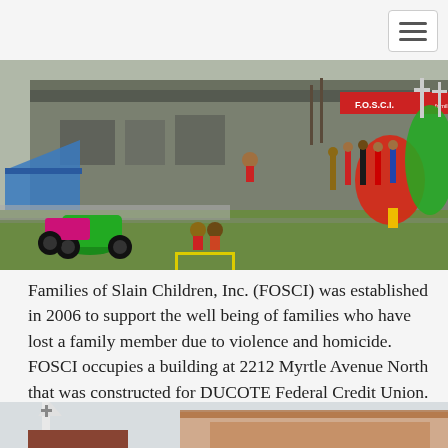[Figure (photo): Outdoor event at FOSCI building showing motorcycles, children sitting on curb, inflatable Christmas decorations, and a group of people gathered near the building entrance.]
Families of Slain Children, Inc. (FOSCI) was established in 2006 to support the well being of families who have lost a family member due to violence and homicide. FOSCI occupies a building at 2212 Myrtle Avenue North that was constructed for DUCOTE Federal Credit Union.
[Figure (photo): Partial view of a church building with a steeple cross visible against a light sky, and a brick roof structure.]